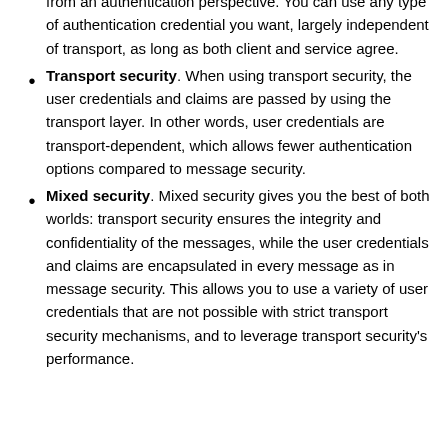from an authentication perspective. You can use any type of authentication credential you want, largely independent of transport, as long as both client and service agree.
Transport security. When using transport security, the user credentials and claims are passed by using the transport layer. In other words, user credentials are transport-dependent, which allows fewer authentication options compared to message security.
Mixed security. Mixed security gives you the best of both worlds: transport security ensures the integrity and confidentiality of the messages, while the user credentials and claims are encapsulated in every message as in message security. This allows you to use a variety of user credentials that are not possible with strict transport security mechanisms, and to leverage transport security’s performance.